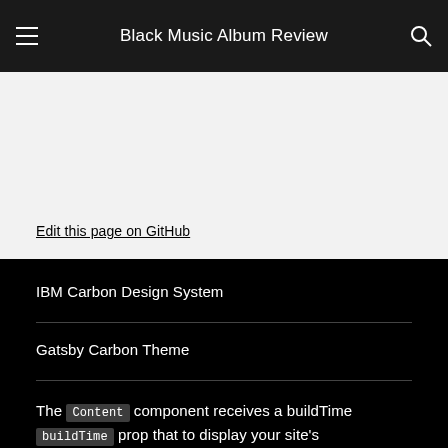Black Music Album Review
Edit this page on GitHub
IBM Carbon Design System
Gatsby Carbon Theme
The Content component receives a buildTime prop that to display your site's build time: 15 August 2022